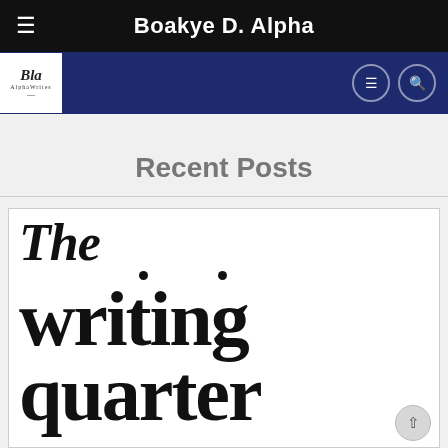Boakye D. Alpha
[Figure (logo): AlphaWrites logo — cursive script logo with small text 'AlphaWrites' on white background, inside navy navigation bar]
Recent Posts
[Figure (photo): Close-up of a book cover showing large serif text: 'The writing quarter' in bold black typography on white background]